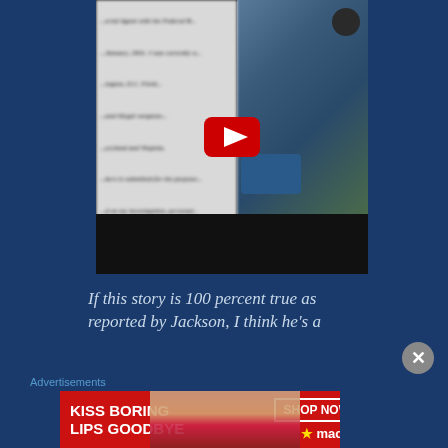[Figure (screenshot): An embedded YouTube video player showing a partially blurred document on the left side with text about a Federal Agent, and a photo on the right of a man in a blue jacket wearing a helmet/headset. A YouTube play button overlay is visible in the center.]
If this story is 100 percent true as reported by Jackson, I think he's a
Advertisements
[Figure (screenshot): Macy's advertisement banner with red background. Text reads 'KISS BORING LIPS GOODBYE' with a woman's face showing red lips in the center. Right side shows 'SHOP NOW' button and Macy's star logo.]